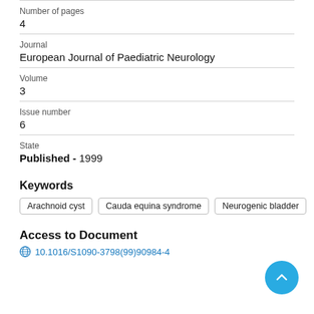Number of pages
4
Journal
European Journal of Paediatric Neurology
Volume
3
Issue number
6
State
Published - 1999
Keywords
Arachnoid cyst
Cauda equina syndrome
Neurogenic bladder
Access to Document
10.1016/S1090-3798(99)90984-4